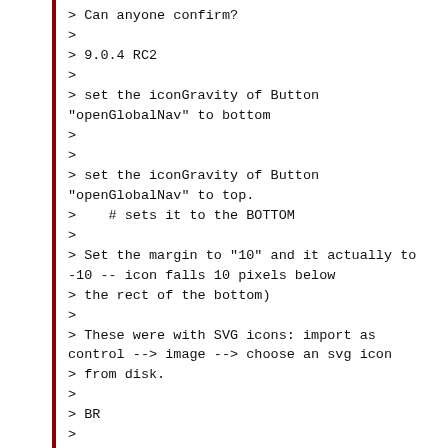> Can anyone confirm?
>
> 9.0.4 RC2
>
> set the iconGravity of Button "openGlobalNav" to bottom
>
>
> set the iconGravity of Button "openGlobalNav" to top.
>    # sets it to the BOTTOM
>
> Set the margin to "10" and it actually to -10 -- icon falls 10 pixels below
> the rect of the bottom)
>
> These were with SVG icons: import as control --> image --> choose an svg icon
> from disk.
>
> BR
>
>